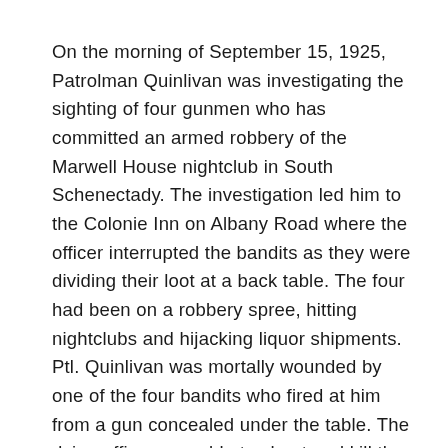On the morning of September 15, 1925, Patrolman Quinlivan was investigating the sighting of four gunmen who has committed an armed robbery of the Marwell House nightclub in South Schenectady. The investigation led him to the Colonie Inn on Albany Road where the officer interrupted the bandits as they were dividing their loot at a back table. The four had been on a robbery spree, hitting nightclubs and hijacking liquor shipments. Ptl. Quinlivan was mortally wounded by one of the four bandits who fired at him from a gun concealed under the table. The dying officer was able to shoot and kill the robber. The dead man was a well-known gangster and gunman who was the prime suspect in the murder of Captain Youmans and the fatal wounding of Ptl. Flynn, as well as a suspect in the murder of Sergeant Thomas P. Oates of the Troy, NY, Police Department.